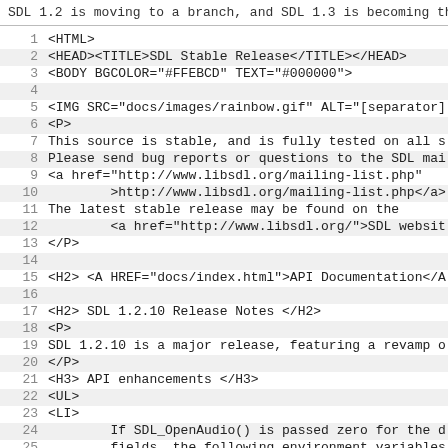SDL 1.2 is moving to a branch, and SDL 1.3 is becoming the
1  <HTML>
2  <HEAD><TITLE>SDL Stable Release</TITLE></HEAD>
3  <BODY BGCOLOR="#FFEBCD" TEXT="#000000">
4  
5  <IMG SRC="docs/images/rainbow.gif" ALT="[separator]
6  <P>
7  This source is stable, and is fully tested on all s
8  Please send bug reports or questions to the SDL mai
9  <a href="http://www.libsdl.org/mailing-list.php"
10         >http://www.libsdl.org/mailing-list.php</a>
11 The latest stable release may be found on the
12         <a href="http://www.libsdl.org/">SDL websit
13 </P>
14 
15 <H2> <A HREF="docs/index.html">API Documentation</A
16 
17 <H2> SDL 1.2.10 Release Notes </H2>
18 <P>
19 SDL 1.2.10 is a major release, featuring a revamp o
20 </P>
21 <H3> API enhancements </H3>
22 <UL>
23 <LI>
24         If SDL_OpenAudio() is passed zero for the d
25         fields, the following environment variables
26         to fill them in:
27 <pre><code>
28                 SDL_AUDIO_FREQUENCY
29                 SDL_AUDIO_FORMAT